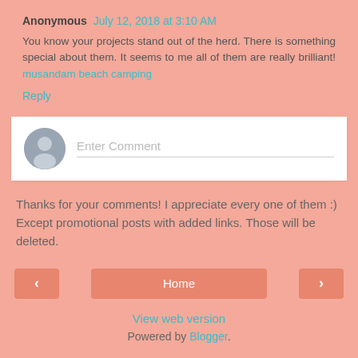Anonymous July 12, 2018 at 3:10 AM
You know your projects stand out of the herd. There is something special about them. It seems to me all of them are really brilliant! musandam beach camping
Reply
[Figure (other): Comment input box with user avatar and Enter Comment placeholder text]
Thanks for your comments! I appreciate every one of them :) Except promotional posts with added links. Those will be deleted.
< Home > View web version Powered by Blogger.